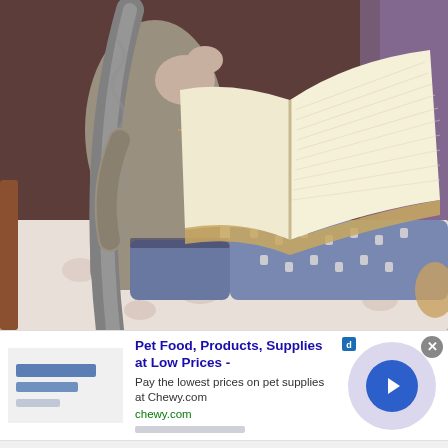[Figure (photo): A young woman with a very long gray braid lies on a bed with a floral bedspread. She wears a gray knit outfit and blue patterned thigh-high socks, and holds an open book. Wooden bed frame visible. Purple curtain in background.]
[Figure (other): Advertisement banner for Chewy.com: Pet Food, Products, Supplies at Low Prices. Shows ad image placeholder on the left, title text in blue, description and URL in green, a lavender circle with a blue arrow button on the right, and a close X button.]